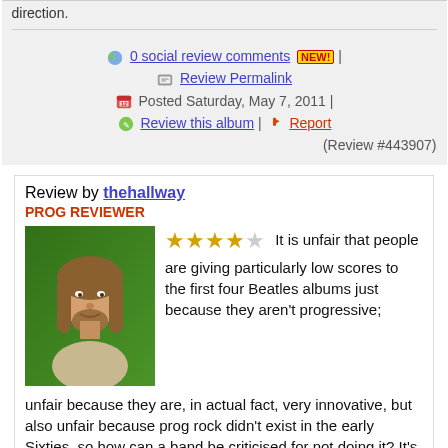direction.
0 social review comments NEW! | Review Permalink | Posted Saturday, May 7, 2011 | Review this album | Report (Review #443907)
Review by thehallway
PROG REVIEWER
[Figure (photo): Avatar photo of reviewer thehallway - man with long hair and beard on green background]
It is unfair that people are giving particularly low scores to the first four Beatles albums just because they aren't progressive; unfair because they are, in actual fact, very innovative, but also unfair because prog rock didn't exist in the early Sixties, so how can a band be criticised for not doing it? It's all to easy to say that With The Beatles isn't